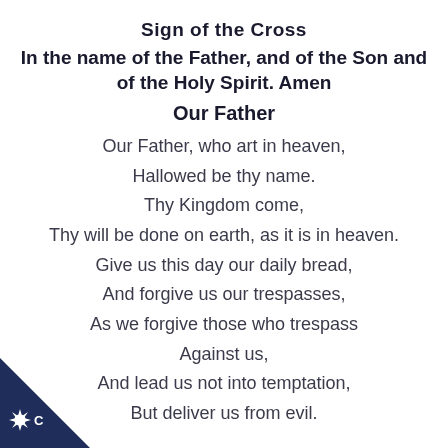Sign of the Cross
In the name of the Father, and of the Son and of the Holy Spirit. Amen
Our Father
Our Father, who art in heaven,
Hallowed be thy name.
Thy Kingdom come,
Thy will be done on earth, as it is in heaven.
Give us this day our daily bread,
And forgive us our trespasses,
As we forgive those who trespass
Against us,
And lead us not into temptation,
But deliver us from evil.
[Figure (logo): Dark navy blue triangle corner logo with a white starburst/sun icon and letter C]